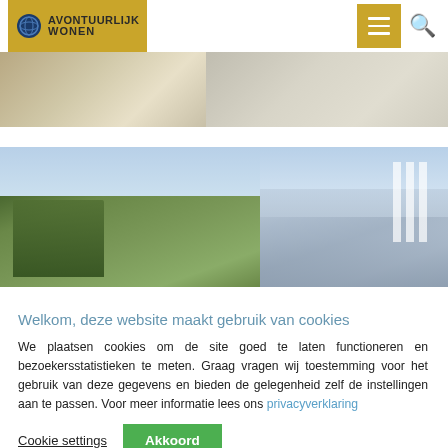[Figure (screenshot): Website header with Avontuurlijk Wonen logo on gold background, hamburger menu button and search icon on the right]
[Figure (photo): Partial view of an interior room, top strip image]
[Figure (photo): Outdoor terrace/balcony view with city buildings and tree visible in background]
Welkom, deze website maakt gebruik van cookies
We plaatsen cookies om de site goed te laten functioneren en bezoekersstatistieken te meten. Graag vragen wij toestemming voor het gebruik van deze gegevens en bieden de gelegenheid zelf de instellingen aan te passen. Voor meer informatie lees ons privacyverklaring
Cookie settings  Akkoord